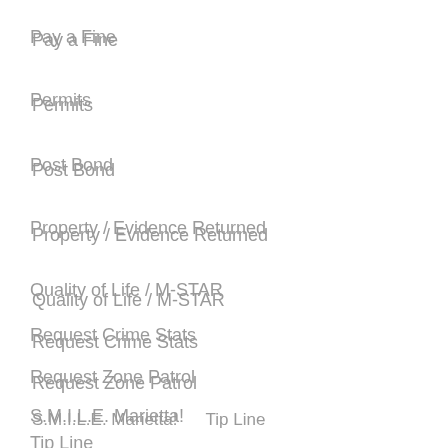Pay a Fine
Permits
Post Bond
Property / Evidence Returned
Quality of Life / M-STAR
Request Crime Stats
Request Zone Patrol
S.M.I.L.E. Marietta!
Tip Line